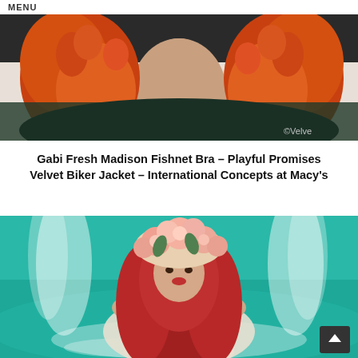MENU
[Figure (photo): Woman with bright orange/red curly hair wearing a dark outfit, upper body cropped, with watermark ©Velve in bottom right]
Gabi Fresh Madison Fishnet Bra – Playful Promises Velvet Biker Jacket – International Concepts at Macy's
[Figure (photo): Woman with long red hair wearing a floral crown of pink roses, in a white flowing outfit, standing in turquoise water with a waterfall behind her]